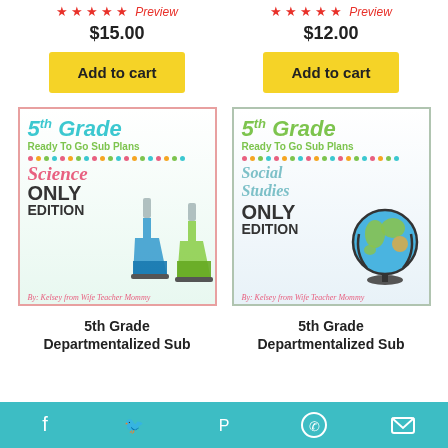$15.00
Add to cart
$12.00
Add to cart
[Figure (illustration): 5th Grade Ready To Go Sub Plans Science Only Edition cover with lab flasks]
[Figure (illustration): 5th Grade Ready To Go Sub Plans Social Studies Only Edition cover with globe]
5th Grade Departmentalized Sub
5th Grade Departmentalized Sub
Social media share icons: Facebook, Twitter, Pinterest, WhatsApp, Email